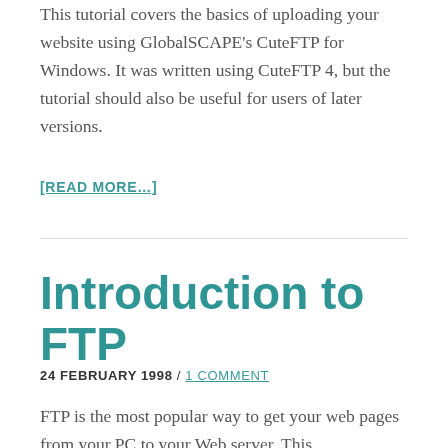This tutorial covers the basics of uploading your website using GlobalSCAPE's CuteFTP for Windows. It was written using CuteFTP 4, but the tutorial should also be useful for users of later versions.
[READ MORE...]
Introduction to FTP
24 FEBRUARY 1998 / 1 COMMENT
FTP is the most popular way to get your web pages from your PC to your Web server. This